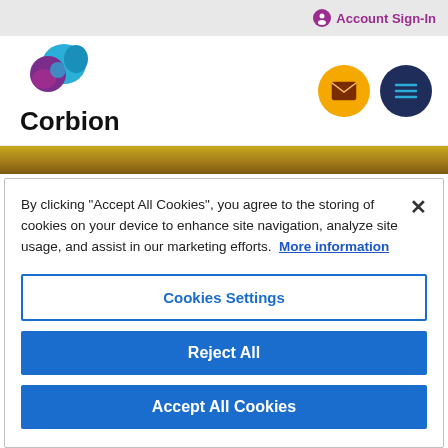Account Sign-In
[Figure (logo): Corbion logo with teal and purple swirl icon and 'Corbion' wordmark]
By clicking “Accept All Cookies”, you agree to the storing of cookies on your device to enhance site navigation, analyze site usage, and assist in our marketing efforts. More information
Cookies Settings
Reject All
Accept All Cookies